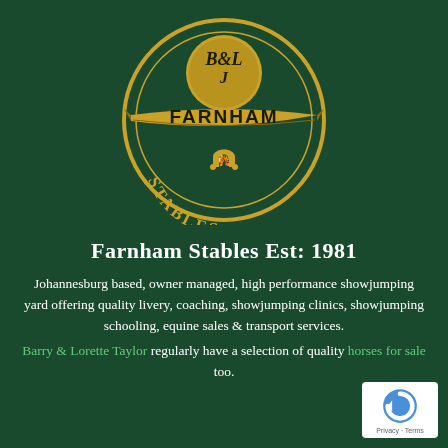[Figure (logo): B&L Farnham Stables circular logo with gold ribbon banner reading FARNHAM and arc text STABLES, with horseshoe emblem, on dark green background]
Farnham Stables Est: 1981
Johannesburg based, owner managed, high performance showjumping yard offering quality livery, coaching, showjumping clinics, showjumping schooling, equine sales & transport services.
Barry & Lorette Taylor regularly have a selection of quality horses for sale too.